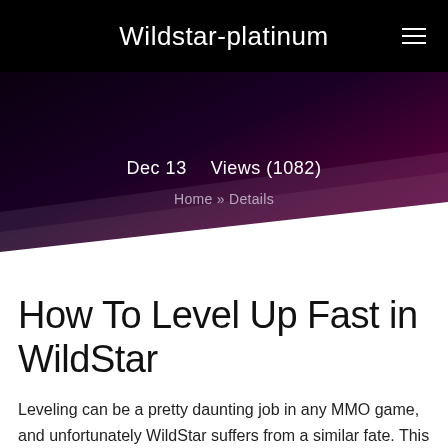Wildstar-platinum
Dec 13    Views (1082)
Home » Details
How To Level Up Fast in WildStar
Leveling can be a pretty daunting job in any MMO game, and unfortunately WildStar suffers from a similar fate. This page will gonna give you several tips to level up fast.